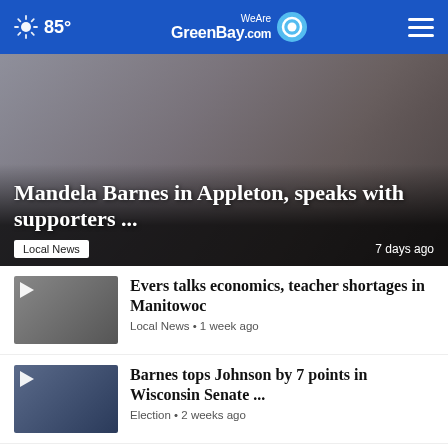85° WeAreGreenBay.com
[Figure (photo): Two people looking at a laptop, one wearing glasses, one with red hair, in front of a brick wall background]
Mandela Barnes in Appleton, speaks with supporters ...
Local News  7 days ago
[Figure (photo): Person speaking, video thumbnail with play button]
Evers talks economics, teacher shortages in Manitowoc
Local News • 1 week ago
[Figure (photo): Man in suit with stars background, video thumbnail with play button]
Barnes tops Johnson by 7 points in Wisconsin Senate ...
Election • 2 weeks ago